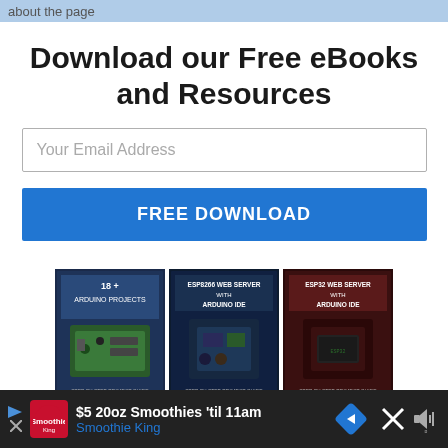about the page
Download our Free eBooks and Resources
Your Email Address
FREE DOWNLOAD
[Figure (photo): Three eBook covers: '18+ Arduino Projects', 'ESP8266 Web Server with Arduino IDE', 'ESP32 Web Server with Arduino IDE', plus 'Ultimate Guide for Arduino Sensor Modules' and 'Arduino Mini Course']
$5 20oz Smoothies 'til 11am Smoothie King